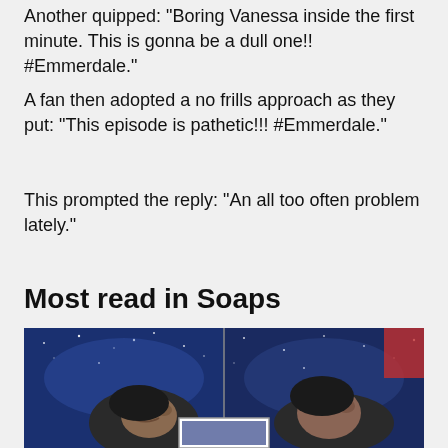Another quipped: "Boring Vanessa inside the first minute. This is gonna be a dull one!! #Emmerdale."
A fan then adopted a no frills approach as they put: "This episode is pathetic!!! #Emmerdale."
This prompted the reply: "An all too often problem lately."
Most read in Soaps
[Figure (photo): Side-by-side photo of a man lying down looking upward against a starry blue night sky background, shown in two panels]